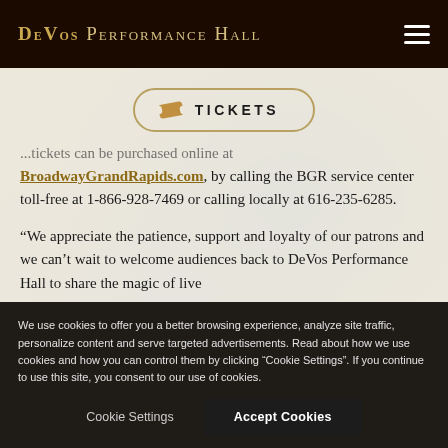DeVos Performance Hall
[Figure (other): Tickets button with ticket icon and text TICKETS, bordered oval button]
...tickets can be purchased online at BroadwayGrandRapids.com, by calling the BGR service center toll-free at 1-866-928-7469 or calling locally at 616-235-6285.
“We appreciate the patience, support and loyalty of our patrons and we can’t wait to welcome audiences back to DeVos Performance Hall to share the magic of live
We use cookies to offer you a better browsing experience, analyze site traffic, personalize content and serve targeted advertisements. Read about how we use cookies and how you can control them by clicking “Cookie Settings”. If you continue to use this site, you consent to our use of cookies.
Cookie Settings    Accept Cookies